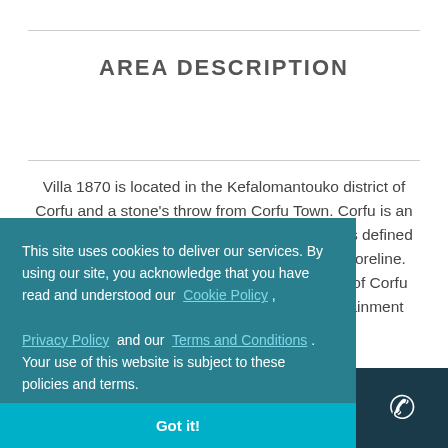AREA DESCRIPTION
Villa 1870 is located in the Kefalomantouko district of Corfu and a stone's throw from Corfu Town. Corfu is an island off the northwest coast off Greece and is defined by rugged mountains and a resort-studded shoreline. The villa is a short 5-minute drive to the town of Corfu and its variety of dining, shopping and entertainment options. Tennis courts are 200 metres from the [villa and the Corfu Golf]
This site uses cookies to deliver our services. By using our site, you acknowledge that you have read and understood our Cookie Policy , Privacy Policy and our Terms and Conditions . Your use of this website is subject to these policies and terms.
Got it!